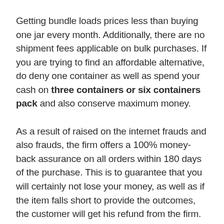Getting bundle loads prices less than buying one jar every month. Additionally, there are no shipment fees applicable on bulk purchases. If you are trying to find an affordable alternative, do deny one container as well as spend your cash on three containers or six containers pack and also conserve maximum money.
As a result of raised on the internet frauds and also frauds, the firm offers a 100% money-back assurance on all orders within 180 days of the purchase. This is to guarantee that you will certainly not lose your money, as well as if the item falls short to provide the outcomes, the customer will get his refund from the firm.